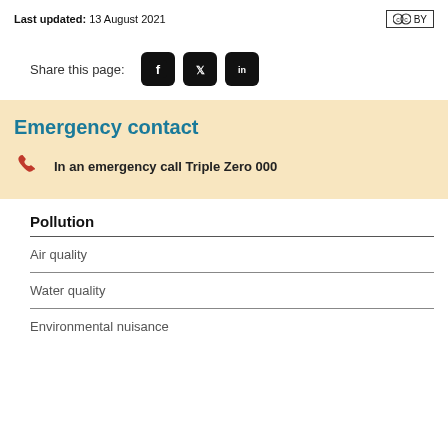Last updated: 13 August 2021
Share this page:
[Figure (logo): CC BY creative commons license badge]
[Figure (logo): Social media icons: Facebook, Twitter, LinkedIn]
Emergency contact
In an emergency call Triple Zero 000
Pollution
Air quality
Water quality
Environmental nuisance